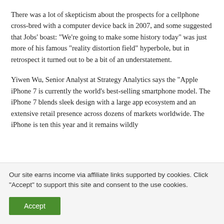There was a lot of skepticism about the prospects for a cellphone cross-bred with a computer device back in 2007, and some suggested that Jobs' boast: "We're going to make some history today" was just more of his famous "reality distortion field" hyperbole, but in retrospect it turned out to be a bit of an understatement.
Yiwen Wu, Senior Analyst at Strategy Analytics says the "Apple iPhone 7 is currently the world's best-selling smartphone model. The iPhone 7 blends sleek design with a large app ecosystem and an extensive retail presence across dozens of markets worldwide. The iPhone is ten this year and it remains wildly
Our site earns income via affiliate links supported by cookies. Click "Accept" to support this site and consent to the use cookies.
Accept